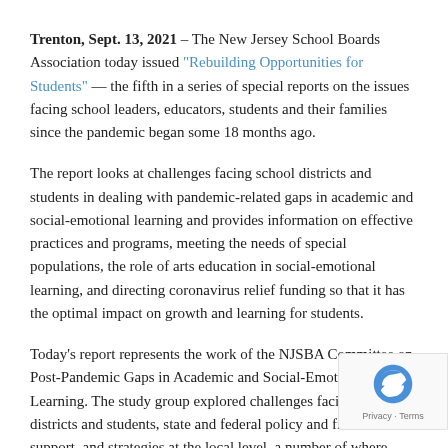Trenton, Sept. 13, 2021 – The New Jersey School Boards Association today issued "Rebuilding Opportunities for Students" — the fifth in a series of special reports on the issues facing school leaders, educators, students and their families since the pandemic began some 18 months ago.
The report looks at challenges facing school districts and students in dealing with pandemic-related gaps in academic and social-emotional learning and provides information on effective practices and programs, meeting the needs of special populations, the role of arts education in social-emotional learning, and directing coronavirus relief funding so that it has the optimal impact on growth and learning for students.
Today's report represents the work of the NJSBA Committee on Post-Pandemic Gaps in Academic and Social-Emotional Learning. The study group explored challenges facing school districts and students, state and federal policy and financial support, and strategies at the local level, a number of wh… were put in place during the past year.
To develop the report, the committee drew upon the knowledge